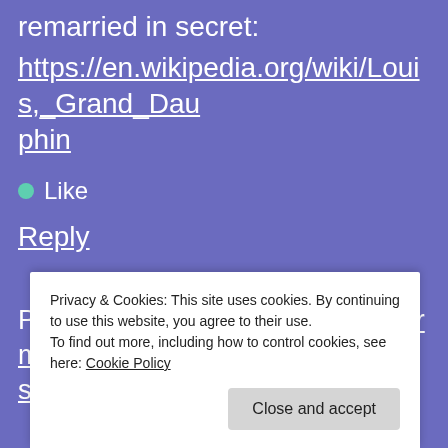remarried in secret:
https://en.wikipedia.org/wiki/Louis,_Grand_Dauphin
Like
Reply
Pingback: Of course, nobody ever married in secret… | murrayandblue
Privacy & Cookies: This site uses cookies. By continuing to use this website, you agree to their use. To find out more, including how to control cookies, see here: Cookie Policy
Close and accept